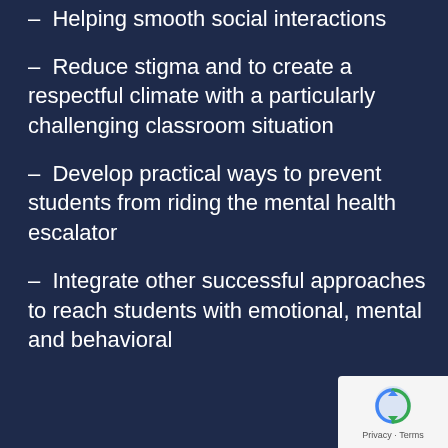– Helping smooth social interactions
– Reduce stigma and to create a respectful climate with a particularly challenging classroom situation
– Develop practical ways to prevent students from riding the mental health escalator
– Integrate other successful approaches to reach students with emotional, mental and behavioral support